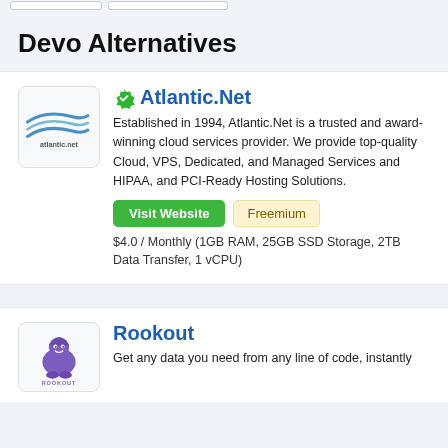Devo Alternatives
[Figure (logo): Atlantic.Net logo — stylized double swoosh lines with 'atlantic.net' text below]
Atlantic.Net
Established in 1994, Atlantic.Net is a trusted and award-winning cloud services provider. We provide top-quality Cloud, VPS, Dedicated, and Managed Services and HIPAA, and PCI-Ready Hosting Solutions.
Visit Website  Freemium
$4.0 / Monthly (1GB RAM, 25GB SSD Storage, 2TB Data Transfer, 1 vCPU)
[Figure (logo): Rookout logo — purple wizard/gnome mascot with ROOKOUT text]
Rookout
Get any data you need from any line of code, instantly